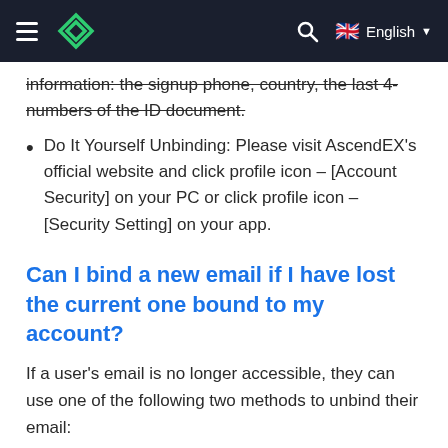AscendEX navigation bar with hamburger menu, logo, search icon, and English language selector
information: the signup phone, country, the last 4-numbers of the ID document.
Do It Yourself Unbinding: Please visit AscendEX's official website and click profile icon – [Account Security] on your PC or click profile icon – [Security Setting] on your app.
Can I bind a new email if I have lost the current one bound to my account?
If a user's email is no longer accessible, they can use one of the following two methods to unbind their email:
Official Unbinding
Users should send an email to